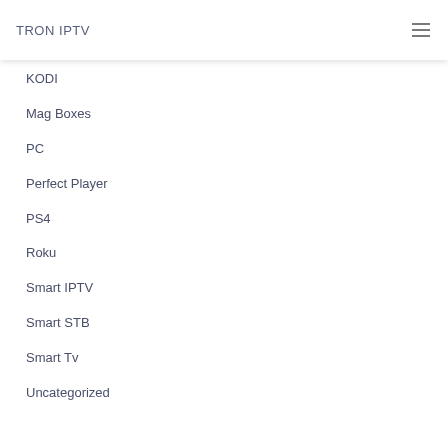TRON IPTV
KODI
Mag Boxes
PC
Perfect Player
PS4
Roku
Smart IPTV
Smart STB
Smart Tv
Uncategorized